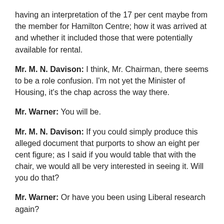having an interpretation of the 17 per cent maybe from the member for Hamilton Centre; how it was arrived at and whether it included those that were potentially available for rental.
Mr. M. N. Davison: I think, Mr. Chairman, there seems to be a role confusion. I'm not yet the Minister of Housing, it's the chap across the way there.
Mr. Warner: You will be.
Mr. M. N. Davison: If you could simply produce this alleged document that purports to show an eight per cent figure; as I said if you would table that with the chair, we would all be very interested in seeing it. Will you do that?
Mr. Warner: Or have you been using Liberal research again?
Mr. M. N. Davison: Would you verbalize that nod?
Hon. Mr. Bennett: Just about as verbalized as you asked